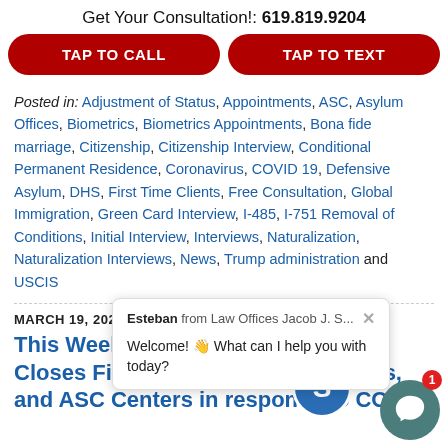Get Your Consultation!: 619.819.9204
TAP TO CALL | TAP TO TEXT
Posted in: Adjustment of Status, Appointments, ASC, Asylum Offices, Biometrics, Biometrics Appointments, Bona fide marriage, Citizenship, Citizenship Interview, Conditional Permanent Residence, Coronavirus, COVID 19, Defensive Asylum, DHS, First Time Clients, Free Consultation, Global Immigration, Green Card Interview, I-485, I-751 Removal of Conditions, Initial Interview, Interviews, Naturalization, Naturalization Interviews, News, Trump administration and USCIS
[Figure (screenshot): Chat popup from Esteban from Law Offices Jacob J. S... with message: Welcome! 👋 What can I help you with today?]
MARCH 19, 2020
This Week in Immigration News: USCIS Closes Field Offices, Asylum Offices, and ASC Centers in response to COVID